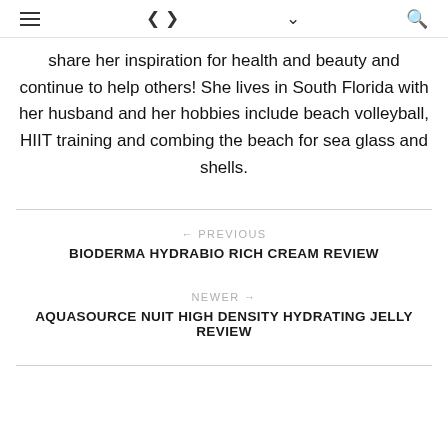≡  ⋮  ∨  🔍
share her inspiration for health and beauty and continue to help others! She lives in South Florida with her husband and her hobbies include beach volleyball, HIIT training and combing the beach for sea glass and shells.
← PREVIOUS
BIODERMA HYDRABIO RICH CREAM REVIEW
NEWER →
AQUASOURCE NUIT HIGH DENSITY HYDRATING JELLY REVIEW